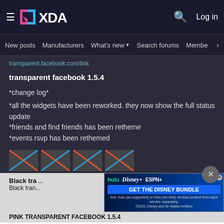XDA — New posts  Manufacturers  What's new  Search forums  Members
transparent.facebook.com (partial link)
transparent facebook 1.5.4
*change log*
*all the widgets have been reworked. they now show the full status update
*friends and find friends has been retheme
*events rsvp has been rethemed
[Figure (screenshot): Four small thumbnail preview images in a row]
Black transparent facebook / Black transparent facebook
[Figure (screenshot): Disney Bundle advertisement banner: Hulu, Disney+, ESPN+ — GET THE DISNEY BUNDLE]
PINK TRANSPARENT FACEBOOK 1.5.4